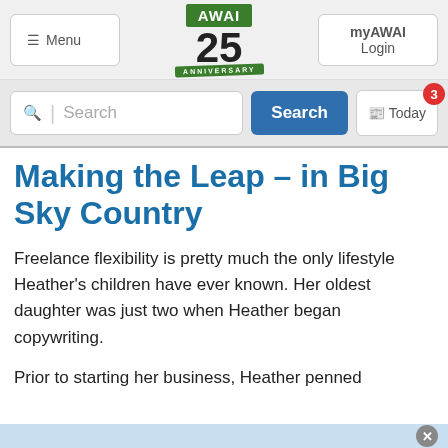Menu | AWAI 25 ANNIVERSARY | myAWAI Login
[Figure (screenshot): Search bar with Search button and Today button with badge showing 3]
Making the Leap – in Big Sky Country
Freelance flexibility is pretty much the only lifestyle Heather's children have ever known. Her oldest daughter was just two when Heather began copywriting.
Prior to starting her business, Heather penned